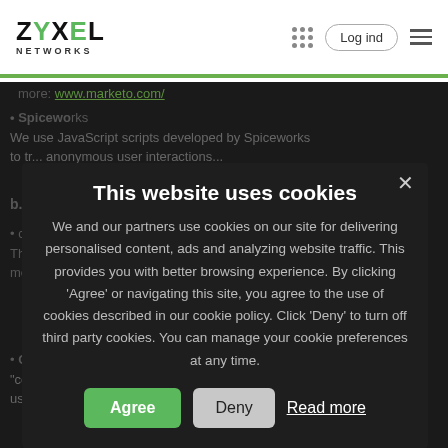Zyxel Networks — Log ind navigation
more: www.marketo.com/
Spiceworks — We use JavaScript scripts developed by Spiceworks to track anonymous user interactions...
b. Ne...
co... Th... messages...
Cookie script — 'cookiescriptaccept' is used to record whether a user has accepted our cookie script. Read more
[Figure (screenshot): Cookie consent modal dialog on dark overlay. Title: 'This website uses cookies'. Body text: 'We and our partners use cookies on our site for delivering personalised content, ads and analyzing website traffic. This provides you with better browsing experience. By clicking Agree or navigating this site, you agree to the use of cookies described in our cookie policy. Click Deny to turn off third party cookies. You can manage your cookie preferences at any time.' Buttons: Agree (green), Deny (grey), Read more (underlined text)]